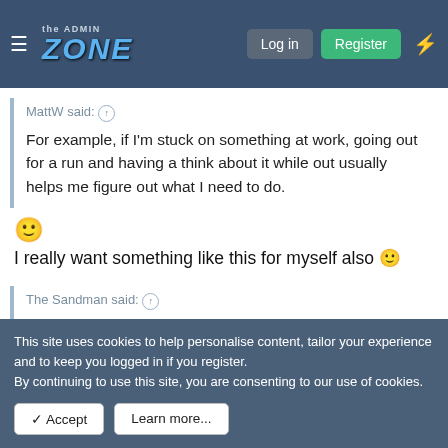the ADMIN ZONE — Log in | Register
MattW said: ↑
For example, if I'm stuck on something at work, going out for a run and having a think about it while out usually helps me figure out what I need to do.
🙂
I really want something like this for myself also 🙂
The Sandman said: ↑
What are the most common technical mistakes you see new admins making?
This site uses cookies to help personalise content, tailor your experience and to keep you logged in if you register.
By continuing to use this site, you are consenting to our use of cookies.